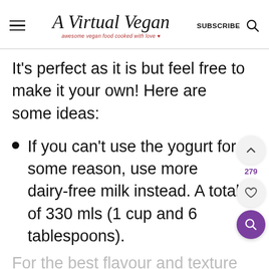A Virtual Vegan | awesome vegan food cooked with love | SUBSCRIBE
It's perfect as it is but feel free to make it your own! Here are some ideas:
If you can't use the yogurt for some reason, use more dairy-free milk instead. A total of 330 mls (1 cup and 6 tablespoons).
For the best flavour and texture though use the yogurt.